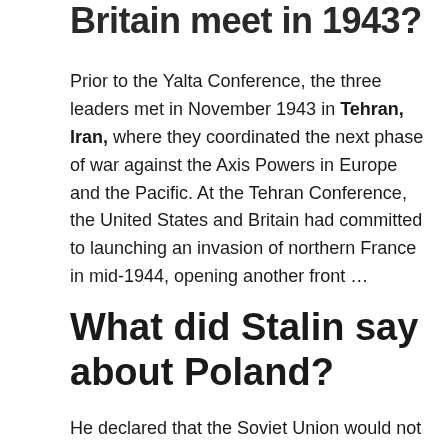Britain meet in 1943?
Prior to the Yalta Conference, the three leaders met in November 1943 in Tehran, Iran, where they coordinated the next phase of war against the Axis Powers in Europe and the Pacific. At the Tehran Conference, the United States and Britain had committed to launching an invasion of northern France in mid-1944, opening another front …
What did Stalin say about Poland?
He declared that the Soviet Union would not return the territory in Poland that it had